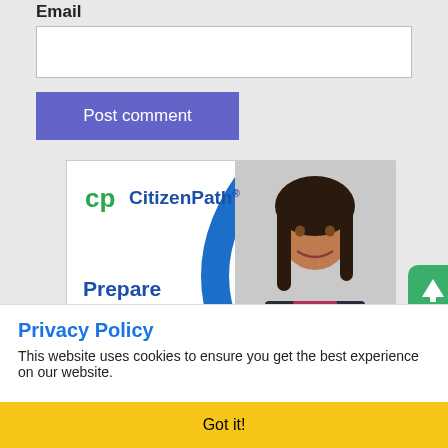Email
Post comment
[Figure (illustration): CitizenPath advertisement banner showing a smiling woman in business attire with the CitizenPath logo and text 'Prepare immigration forms correctly, guaranteed']
Privacy Policy
This website uses cookies to ensure you get the best experience on our website.
Got it!